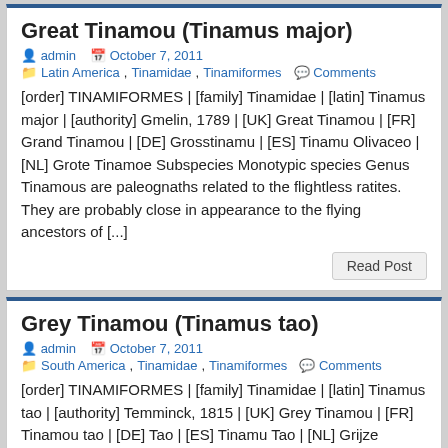Great Tinamou (Tinamus major)
admin   October 7, 2011
Latin America, Tinamidae, Tinamiformes   Comments
[order] TINAMIFORMES | [family] Tinamidae | [latin] Tinamus major | [authority] Gmelin, 1789 | [UK] Great Tinamou | [FR] Grand Tinamou | [DE] Grosstinamu | [ES] Tinamu Olivaceo | [NL] Grote Tinamoe Subspecies Monotypic species Genus Tinamous are paleognaths related to the flightless ratites. They are probably close in appearance to the flying ancestors of [...]
Read Post
Grey Tinamou (Tinamus tao)
admin   October 7, 2011
South America, Tinamidae, Tinamiformes   Comments
[order] TINAMIFORMES | [family] Tinamidae | [latin] Tinamus tao | [authority] Temminck, 1815 | [UK] Grey Tinamou | [FR] Tinamou tao | [DE] Tao | [ES] Tinamu Tao | [NL] Grijze Tinamoe Subspecies Monotypic species Genus Tinamous are paleognaths related to the flightless ratites. They are probably close in appearance to the flying ancestors of [...]